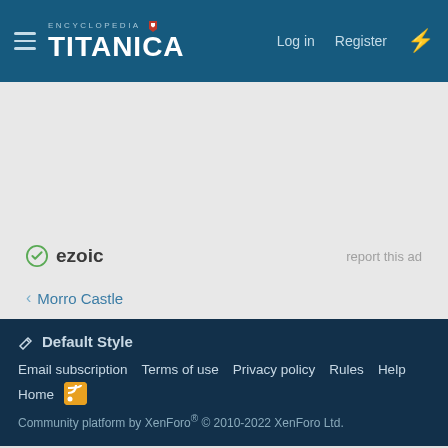Encyclopedia Titanica — Log in  Register
[Figure (logo): Ezoic logo with green circle checkmark icon and 'ezoic' text]
report this ad
< Morro Castle
✏ Default Style  Email subscription  Terms of use  Privacy policy  Rules  Help  Home  [RSS]  Community platform by XenForo® © 2010-2022 XenForo Ltd.